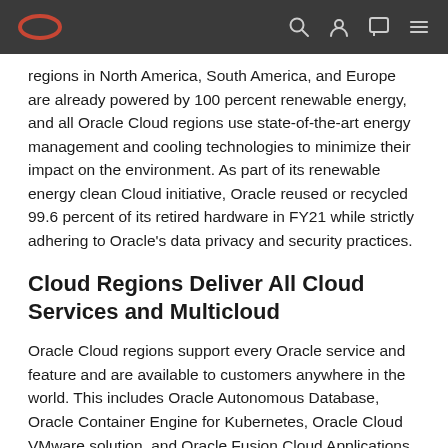Oracle navigation bar with logo and icons
regions in North America, South America, and Europe are already powered by 100 percent renewable energy, and all Oracle Cloud regions use state-of-the-art energy management and cooling technologies to minimize their impact on the environment. As part of its renewable energy clean Cloud initiative, Oracle reused or recycled 99.6 percent of its retired hardware in FY21 while strictly adhering to Oracle's data privacy and security practices.
Cloud Regions Deliver All Cloud Services and Multicloud
Oracle Cloud regions support every Oracle service and feature and are available to customers anywhere in the world. This includes Oracle Autonomous Database, Oracle Container Engine for Kubernetes, Oracle Cloud VMware solution, and Oracle Fusion Cloud Applications.
OCI's extensive network of more than 70 FastConnect